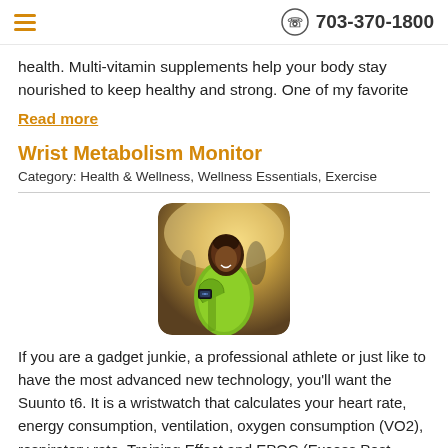703-370-1800
health. Multi-vitamin supplements help your body stay nourished to keep healthy and strong. One of my favorite
Read more
Wrist Metabolism Monitor
Category: Health & Wellness, Wellness Essentials, Exercise
[Figure (photo): Person in green jacket checking wrist watch/fitness tracker outdoors, with others in background]
If you are a gadget junkie, a professional athlete or just like to have the most advanced new technology, you'll want the Suunto t6. It is a wristwatch that calculates your heart rate, energy consumption, ventilation, oxygen consumption (VO2), respiratory rate, Training Effect and EPOC (Excess Post-Exercise